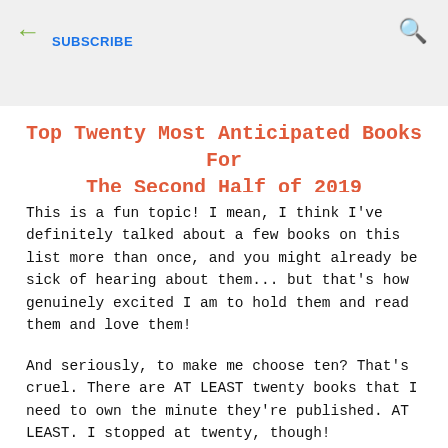← (back arrow)   SUBSCRIBE   🔍 (search icon)
Top Twenty Most Anticipated Books For The Second Half of 2019
This is a fun topic! I mean, I think I've definitely talked about a few books on this list more than once, and you might already be sick of hearing about them... but that's how genuinely excited I am to hold them and read them and love them!
And seriously, to make me choose ten? That's cruel. There are AT LEAST twenty books that I need to own the minute they're published. AT LEAST. I stopped at twenty, though!